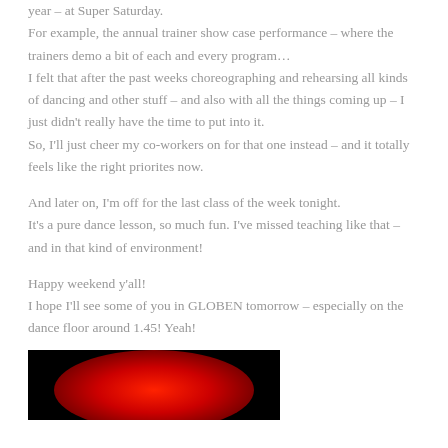year – at Super Saturday.
For example, the annual trainer show case performance – where the trainers demo a bit of each and every program…
I felt that after the past weeks choreographing and rehearsing all kinds of dancing and other stuff – and also with all the things coming up – I just didn't really have the time to put into it.
So, I'll just cheer my co-workers on for that one instead – and it totally feels like the right priorites now.
And later on, I'm off for the last class of the week tonight.
It's a pure dance lesson, so much fun. I've missed teaching like that – and in that kind of environment!
Happy weekend y'all!
I hope I'll see some of you in GLOBEN tomorrow – especially on the dance floor around 1.45! Yeah!
[Figure (photo): Bottom portion of a dark image with a red glowing object (ball or light) visible against a black background]